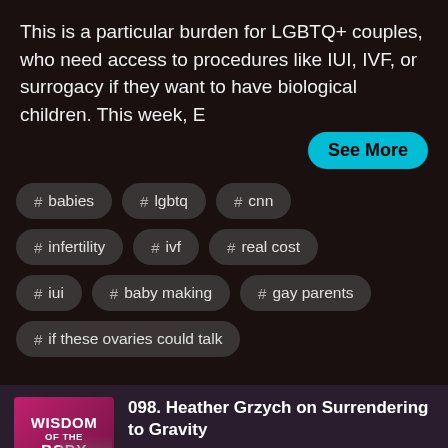This is a particular burden for LGBTQ+ couples, who need access to procedures like IUI, IVF, or surrogacy if they want to have biological children. This week, E
See More
# babies
# lgbtq
# cnn
# infertility
# ivf
# real cost
# iui
# baby making
# gay parents
# if these ovaries could talk
[Figure (photo): Podcast artwork for Wisdom of the Body featuring pink/magenta background with bold white text and a woman with dark hair]
098. Heather Grzych on Surrendering to Gravity
Wisdom of the Body
Play Episode